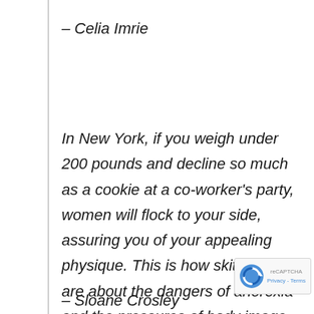– Celia Imrie
In New York, if you weigh under 200 pounds and decline so much as a cookie at a co-worker's party, women will flock to your side, assuring you of your appealing physique. This is how skittish we are about the dangers of anorexia and the pressures of body image.
– Sloane Crosley